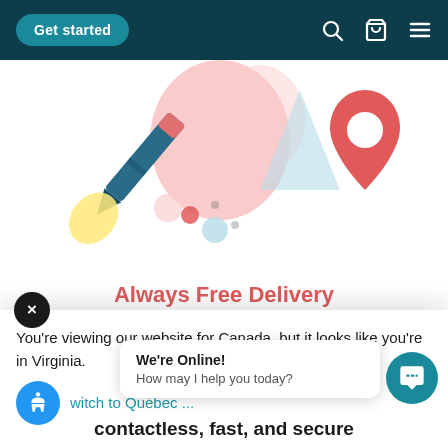Get started
[Figure (illustration): Illustration of a rocket/pen launching upward with colorful balloons and a map location pin on the right side, on a white background]
Always Free Delivery
You're viewing our website for Canada, but it looks like you're in Virginia.
witch to Québec ...
contactless, fast, and secure
We're Online! How may I help you today?